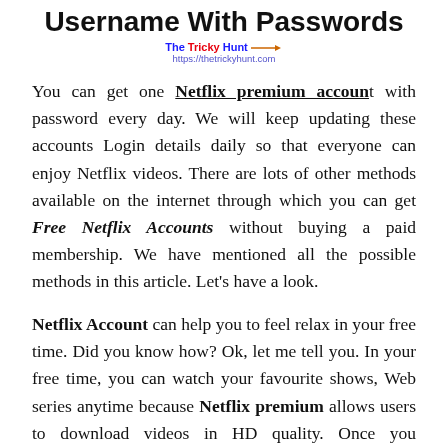Username With Passwords
[Figure (logo): The Tricky Hunt logo with URL https://thetrickyhunt.com and an arrow]
You can get one Netflix premium account with password every day. We will keep updating these accounts Login details daily so that everyone can enjoy Netflix videos. There are lots of other methods available on the internet through which you can get Free Netflix Accounts without buying a paid membership. We have mentioned all the possible methods in this article. Let's have a look.
Netflix Account can help you to feel relax in your free time. Did you know how? Ok, let me tell you. In your free time, you can watch your favourite shows, Web series anytime because Netflix premium allows users to download videos in HD quality. Once you download the video, it will be saved in your video gallery in Netflix app. After that, you can